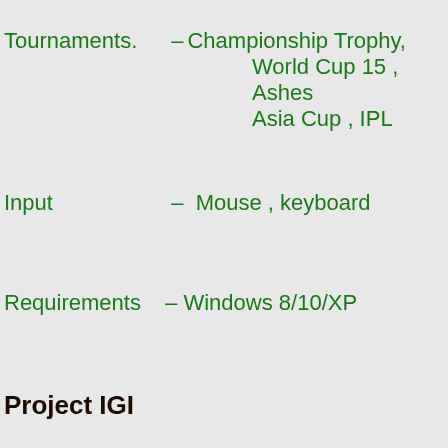Tournaments.   – Championship Trophy, World Cup 15 , Ashes Asia Cup , IPL
Input   –  Mouse , keyboard
Requirements   –  Windows 8/10/XP
Project IGI